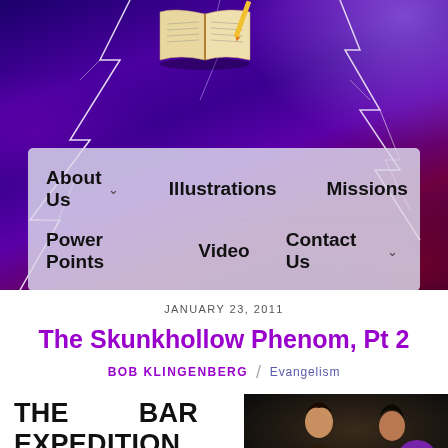[Figure (screenshot): Website header with purple lightning storm background and open Bible book at top. Navigation menu bar with semi-transparent background overlaid on the hero image.]
About Us  Illustrations  Missions  Power Points  Video  Contact Us
JANUARY 23, 2011
The Skunkhollow Phenom, Pt 2
BOB KLINGENBERG / Evangelism
THE    BAR EXPEDITION